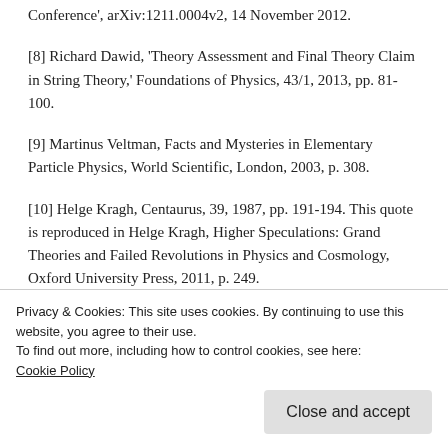Conference', arXiv:1211.0004v2, 14 November 2012.
[8] Richard Dawid, 'Theory Assessment and Final Theory Claim in String Theory,' Foundations of Physics, 43/1, 2013, pp. 81-100.
[9] Martinus Veltman, Facts and Mysteries in Elementary Particle Physics, World Scientific, London, 2003, p. 308.
[10] Helge Kragh, Centaurus, 39, 1987, pp. 191-194. This quote is reproduced in Helge Kragh, Higher Speculations: Grand Theories and Failed Revolutions in Physics and Cosmology, Oxford University Press, 2011, p. 249.
Privacy & Cookies: This site uses cookies. By continuing to use this website, you agree to their use.
To find out more, including how to control cookies, see here: Cookie Policy